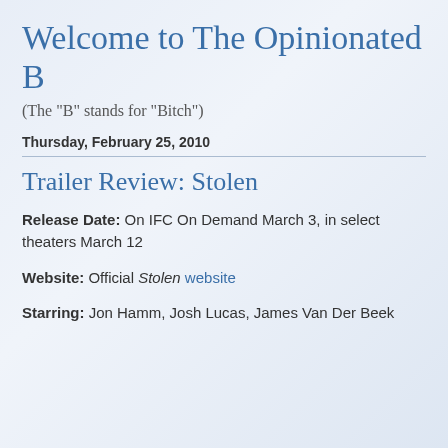Welcome to The Opinionated B
(The "B" stands for "Bitch")
Thursday, February 25, 2010
Trailer Review: Stolen
Release Date: On IFC On Demand March 3, in select theaters March 12
Website: Official Stolen website
Starring: Jon Hamm, Josh Lucas, James Van Der Beek